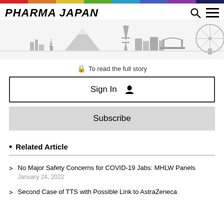PHARMA JAPAN
[Figure (illustration): Tokyo cityscape skyline silhouette in grey showing pagoda, Mt Fuji, Tokyo Tower, skyscrapers, bridge, and Ferris wheel]
To read the full story
Sign In
Subscribe
Related Article
No Major Safety Concerns for COVID-19 Jabs: MHLW Panels
January 24, 2022
Second Case of TTS with Possible Link to AstraZeneca